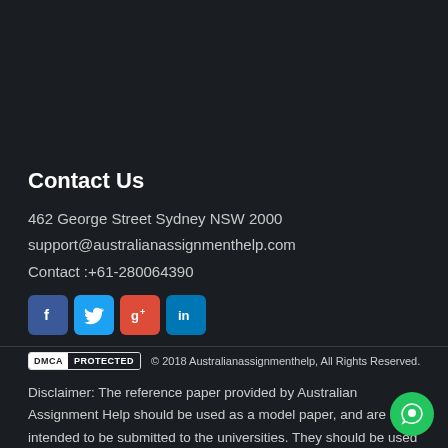Contact Us
462 George Street Sydney NSW 2000
support@australianassignmenthelp.com
Contact :+61-280064390
[Figure (illustration): Social media icons: Facebook, Twitter, Google+, LinkedIn]
[Figure (logo): DMCA Protected badge]
© 2018 Australianassignmenthelp, All Rights Reserved.
Disclaimer: The reference paper provided by Australian Assignment Help should be used as a model paper, and are not intended to be submitted to the universities. They should be used as a reference paper for further research.